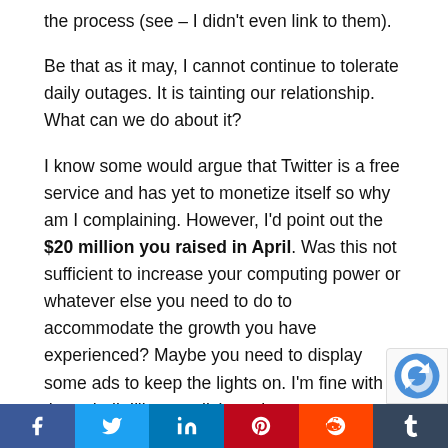the process (see – I didn't even link to them).
Be that as it may, I cannot continue to tolerate daily outages. It is tainting our relationship. What can we do about it?
I know some would argue that Twitter is a free service and has yet to monetize itself so why am I complaining. However, I'd point out the $20 million you raised in April. Was this not sufficient to increase your computing power or whatever else you need to do to accommodate the growth you have experienced? Maybe you need to display some ads to keep the lights on. I'm fine with that – hell, I'll even click on them